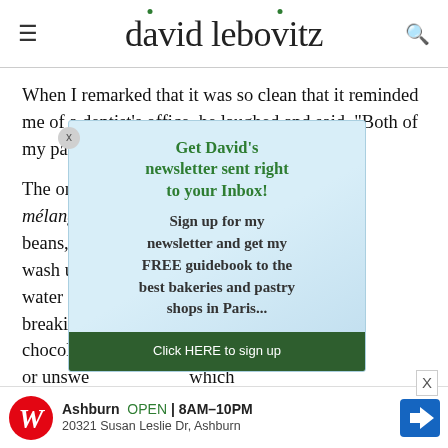david lebovitz
When I remarked that it was so clean that it reminded me of a dentist's office, he laughed and said, "Both of my parents are dentists!" Which made sense.
The only [popup overlay] ...mélangeu... ne beans, wh... vant to wash unle... mount of water or m... by breaking... chocolate... le cacao, or unswe... which isn't a pr... the
[Figure (other): Newsletter signup popup overlay with green text headline 'Get David's newsletter sent right to your Inbox!' and body text 'Sign up for my newsletter and get my FREE guidebook to the best bakeries and pastry shops in Paris...' with a dark green 'Click HERE to sign up' button]
[Figure (other): Walgreens advertisement banner: Ashburn OPEN 8AM-10PM, 20321 Susan Leslie Dr, Ashburn]